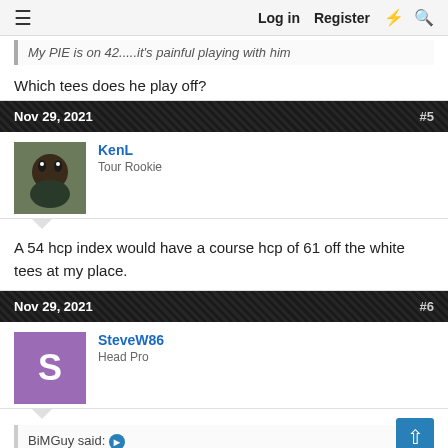≡  Log in  Register  ⚡  🔍
My PIE is on 42.....it's painful playing with him
Which tees does he play off?
Nov 29, 2021  #5
KenL
Tour Rookie
A 54 hcp index would have a course hcp of 61 off the white tees at my place.
Nov 29, 2021  #6
SteveW86
Head Pro
BiMGuy said: ➡